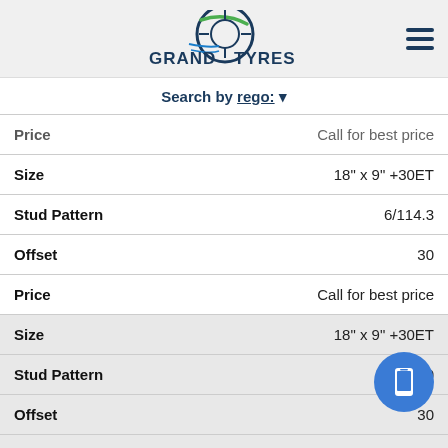Grand Tyres logo and navigation
Search by rego: ▼
| Field | Value |
| --- | --- |
| Price | Call for best price |
| Size | 18" x 9" +30ET |
| Stud Pattern | 6/114.3 |
| Offset | 30 |
| Price | Call for best price |
| Size | 18" x 9" +30ET |
| Stud Pattern | 6/130 |
| Offset | 30 |
| Price | Call for best price |
| Size | 18" x 9" +30ET |